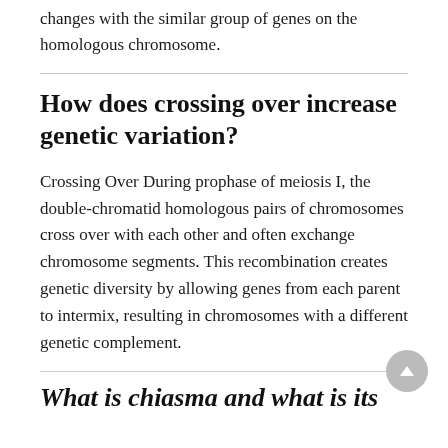changes with the similar group of genes on the homologous chromosome.
How does crossing over increase genetic variation?
Crossing Over During prophase of meiosis I, the double-chromatid homologous pairs of chromosomes cross over with each other and often exchange chromosome segments. This recombination creates genetic diversity by allowing genes from each parent to intermix, resulting in chromosomes with a different genetic complement.
What is chiasma and what is its